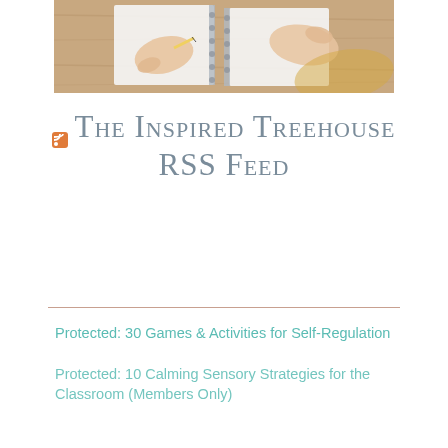[Figure (photo): Overhead/top-down photo of children's hands writing in spiral notebooks on a wooden table surface]
The Inspired Treehouse RSS Feed
Protected: 30 Games & Activities for Self-Regulation
Protected: 10 Calming Sensory Strategies for the Classroom (Members Only)